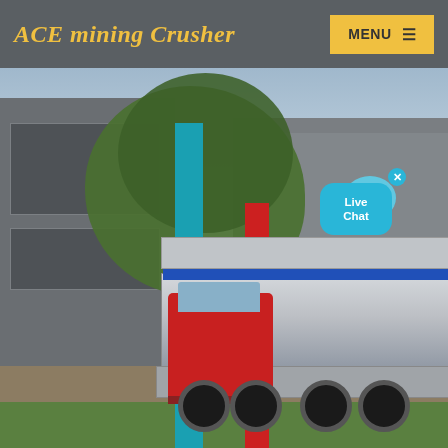ACE mining Crusher  MENU
[Figure (photo): Outdoor scene showing a large red truck/semi-truck with a flatbed carrying heavy industrial equipment (likely a crusher or large machine wrapped in silver/grey protective covering with a blue stripe), parked near a factory building. A teal pillar and tree are visible on the left side. A 'Live Chat' bubble UI element overlays the top-right of the image.]